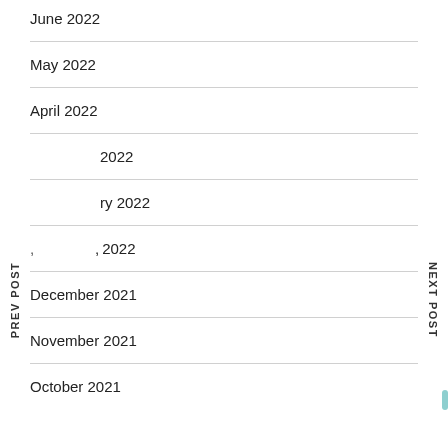June 2022
May 2022
April 2022
2022
ry 2022
, 2022
December 2021
November 2021
October 2021